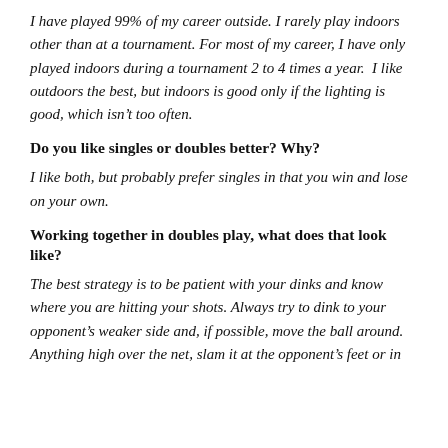I have played 99% of my career outside. I rarely play indoors other than at a tournament. For most of my career, I have only played indoors during a tournament 2 to 4 times a year.  I like outdoors the best, but indoors is good only if the lighting is good, which isn't too often.
Do you like singles or doubles better? Why?
I like both, but probably prefer singles in that you win and lose on your own.
Working together in doubles play, what does that look like?
The best strategy is to be patient with your dinks and know where you are hitting your shots. Always try to dink to your opponent's weaker side and, if possible, move the ball around. Anything high over the net, slam it at the opponent's feet or in